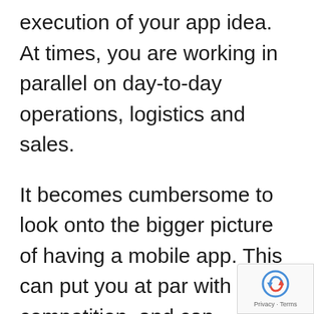execution of your app idea. At times, you are working in parallel on day-to-day operations, logistics and sales.
It becomes cumbersome to look onto the bigger picture of having a mobile app. This can put you at par with your competition, and can eventually hand you an advantage in the consumer market.
In such a situation, it is always best to seek help from a seasoned IT company that can help you in creating the required mobile app. It not only positively reflects on your